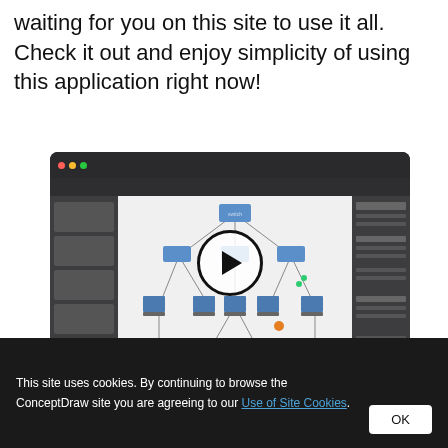waiting for you on this site to use it all. Check it out and enjoy simplicity of using this application right now!
[Figure (screenshot): Screenshot of ConceptDraw application showing a computer network diagram with various network nodes connected by lines, displayed inside a macOS-style window. A play button overlay is centered on the image indicating it is a video thumbnail.]
This site uses cookies. By continuing to browse the ConceptDraw site you are agreeing to our Use of Site Cookies.